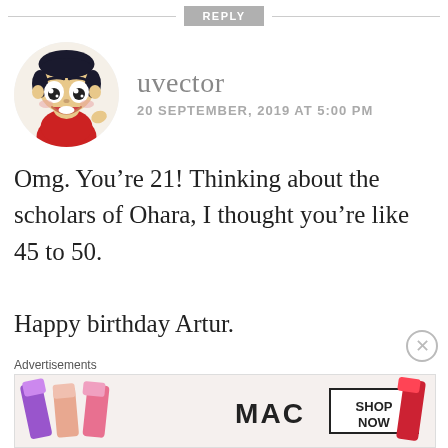REPLY
[Figure (illustration): Cartoon avatar of a young anime-style boy with dark hair, big eyes, wearing a red outfit, circular profile picture]
uvector
20 SEPTEMBER, 2019 AT 5:00 PM
Omg. You’re 21! Thinking about the scholars of Ohara, I thought you’re like 45 to 50.

Happy birthday Artur.
★ Like
Advertisements
[Figure (photo): MAC Cosmetics advertisement banner showing colorful lipsticks and SHOP NOW button]